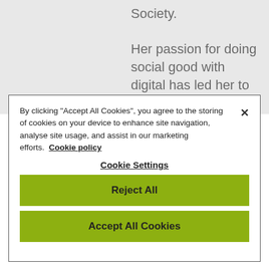Society.

Her passion for doing social good with digital has led her to take on many hats including being organiser of
By clicking "Accept All Cookies", you agree to the storing of cookies on your device to enhance site navigation, analyse site usage, and assist in our marketing efforts. Cookie policy
Cookie Settings
Reject All
Accept All Cookies